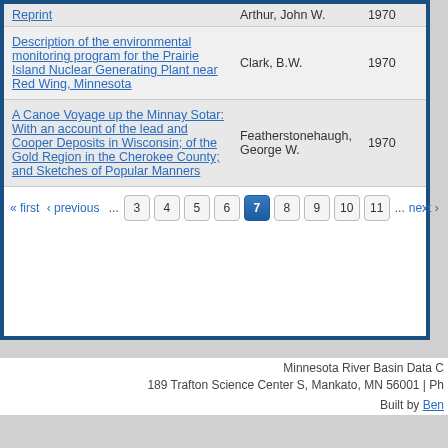| Title | Author | Year |
| --- | --- | --- |
| Reprint | Arthur, John W. | 1970 |
| Description of the environmental monitoring program for the Prairie Island Nuclear Generating Plant near Red Wing, Minnesota | Clark, B.W. | 1970 |
| A Canoe Voyage up the Minnay Sotar: With an account of the lead and Cooper Deposits in Wisconsin; of the Gold Region in the Cherokee County; and Sketches of Popular Manners | Featherstonehaugh, George W. | 1970 |
« first ‹ previous ... 3 4 5 6 7 8 9 10 11 ... next »
Minnesota River Basin Data C 189 Trafton Science Center S, Mankato, MN 56001 | Ph Built by Ben